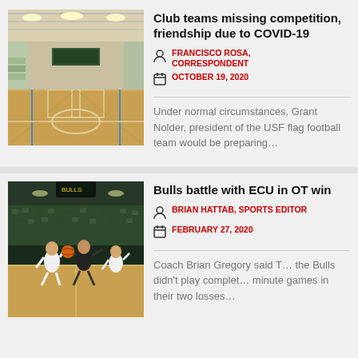[Figure (photo): Empty indoor gymnasium with hardwood basketball courts, green and blue markings, fluorescent lighting overhead.]
Club teams missing competition, friendship due to COVID-19
FRANCISCO ROSA, CORRESPONDENT
OCTOBER 19, 2020
Under normal circumstances, Grant Nolder, president of the USF flag football team would be preparing…
[Figure (photo): Basketball game action shot with players on court in a green and black arena setting.]
Bulls battle with ECU in OT win
BRIAN HATTAB, SPORTS EDITOR
FEBRUARY 27, 2020
Coach Brian Gregory said T… the Bulls didn't play complet… minute games in their two losses…